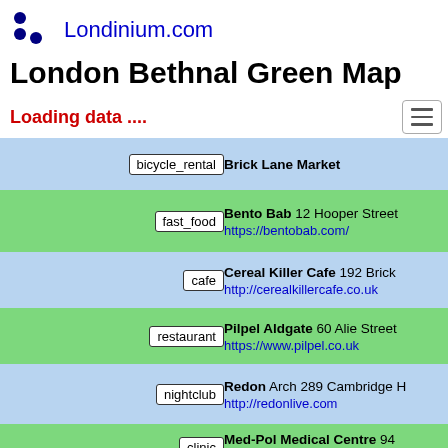Londinium.com
London Bethnal Green Map
Loading data ....
| Category | Name / Details |
| --- | --- |
| bicycle_rental | Brick Lane Market |
| fast_food | Bento Bab 12 Hooper Street
https://bentobab.com/ |
| cafe | Cereal Killer Cafe 192 Brick...
http://cerealkillercafe.co.uk |
| restaurant | Pilpel Aldgate 60 Alie Street...
https://www.pilpel.co.uk |
| nightclub | Redon Arch 289 Cambridge H...
http://redonlive.com |
| clinic | Med-Pol Medical Centre 94...
https://www.med-pol.co.uk |